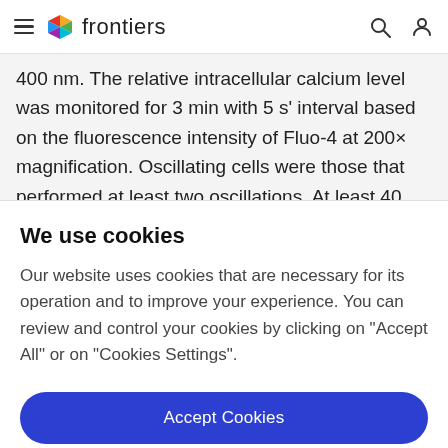frontiers
400 nm. The relative intracellular calcium level was monitored for 3 min with 5 s' interval based on the fluorescence intensity of Fluo-4 at 200× magnification. Oscillating cells were those that performed at least two oscillations. At least 40 cells were monitored in each well
We use cookies
Our website uses cookies that are necessary for its operation and to improve your experience. You can review and control your cookies by clicking on "Accept All" or on "Cookies Settings".
Accept Cookies
Cookies Settings